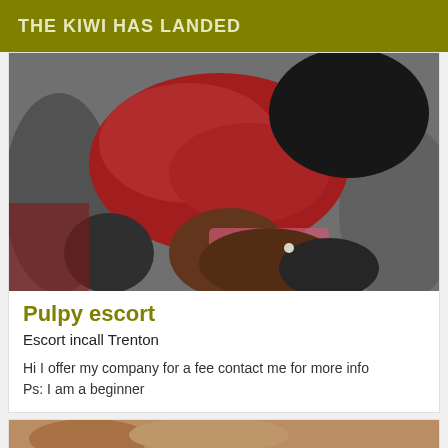THE KIWI HAS LANDED
[Figure (photo): Photo of a person in a red top and dark leggings/stockings lying on what appears to be a sofa or cushioned surface]
Pulpy escort
Escort incall Trenton
Hi I offer my company for a fee contact me for more info
Ps: I am a beginner
[Figure (photo): Partial photo visible at the bottom of the page]